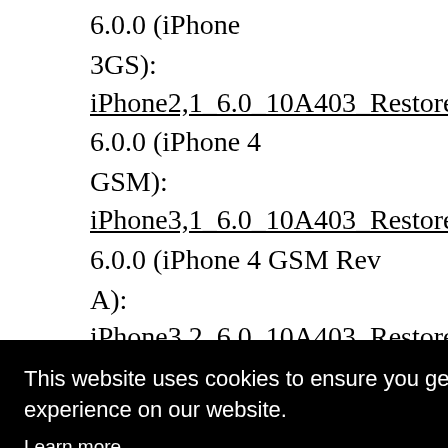6.0.0 (iPhone 3GS): iPhone2,1_6.0_10A403_Restore.ipsw
6.0.0 (iPhone 4 GSM): iPhone3,1_6.0_10A403_Restore.ipsw
6.0.0 (iPhone 4 GSM Rev A): iPhone3,2_6.0_10A403_Restore.ipsw
6.0.0 (iPhone 4 ...): ...tore.ipsw (partially visible)
6.0.0 (iPhone 5 ...): ...Restore... (partially visible)
6.0.0 (iPhone ...): ...re.ipsw (partially visible)
6.0.0 (iPhone 5 ...) (partially visible at bottom)
This website uses cookies to ensure you get the best experience on our website. Learn more
Got it!